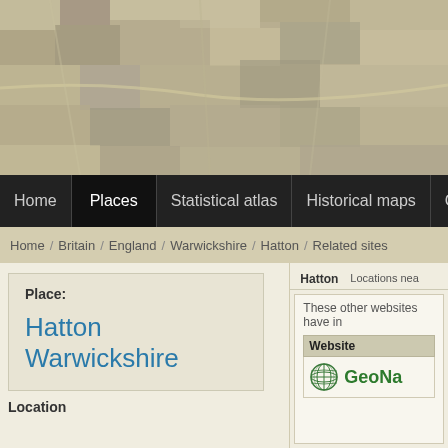[Figure (map): Pixelated/blurred map background image in the header area]
Home  Places  Statistical atlas  Historical maps  Census
Home / Britain / England / Warwickshire / Hatton / Related sites
Place:
Hatton Warwickshire
Hatton   Locations near...
These other websites have in...
| Website |
| --- |
| GeoNa... |
Location